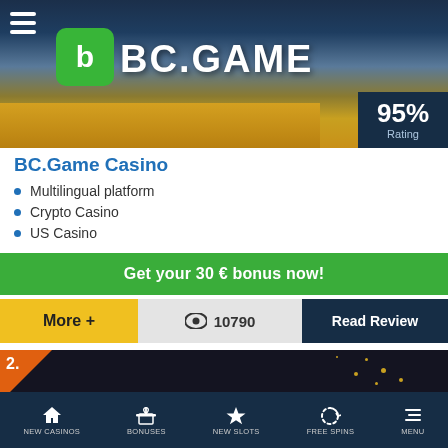[Figure (screenshot): BC.Game Casino hero banner with logo, coins, roulette wheel, dice, and 95% Rating badge]
BC.Game Casino
Multilingual platform
Crypto Casino
US Casino
Get your 30 € bonus now!
More +   10790   Read Review
[Figure (screenshot): Second casino listing item numbered 2 with dark background and sparkle effects]
NEW CASINOS   BONUSES   NEW SLOTS   FREE SPINS   MENU